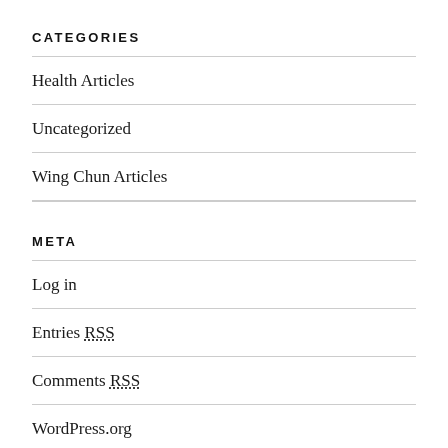CATEGORIES
Health Articles
Uncategorized
Wing Chun Articles
META
Log in
Entries RSS
Comments RSS
WordPress.org